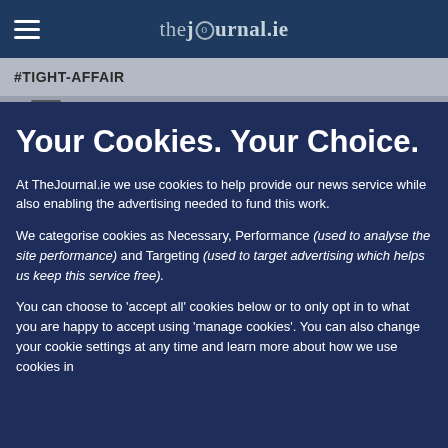thejournal.ie
#TIGHT-AFFAIR
# TIGHT AFFAIR
Your Cookies. Your Choice.
At TheJournal.ie we use cookies to help provide our news service while also enabling the advertising needed to fund this work.
We categorise cookies as Necessary, Performance (used to analyse the site performance) and Targeting (used to target advertising which helps us keep this service free).
You can choose to 'accept all' cookies below or to only opt in to what you are happy to accept using 'manage cookies'. You can also change your cookie settings at any time and learn more about how we use cookies in